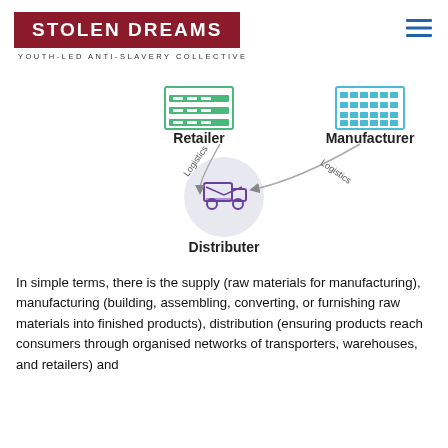STOLEN DREAMS — YOUTH-LED ANTI-SLAVERY COLLECTIVE
[Figure (infographic): Supply chain diagram showing Retailer (top-left, green building icon), Manufacturer (top-right, teal factory icon), and Distributer (center-bottom, purple truck icon in a circle). Curved arrows with 'Logistics' labels connect Retailer to Distributer and Manufacturer to Distributer.]
In simple terms, there is the supply (raw materials for manufacturing), manufacturing (building, assembling, converting, or furnishing raw materials into finished products), distribution (ensuring products reach consumers through organised networks of transporters, warehouses, and retailers) and